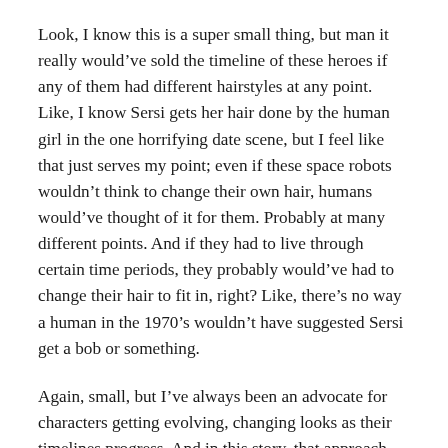Look, I know this is a super small thing, but man it really would've sold the timeline of these heroes if any of them had different hairstyles at any point. Like, I know Sersi gets her hair done by the human girl in the one horrifying date scene, but I feel like that just serves my point; even if these space robots wouldn't think to change their own hair, humans would've thought of it for them. Probably at many different points. And if they had to live through certain time periods, they probably would've had to change their hair to fit in, right? Like, there's no way a human in the 1970's wouldn't have suggested Sersi get a bob or something.
Again, small, but I've always been an advocate for characters getting evolving, changing looks as their timelines progress. And in this story, that approach would've done wonders.